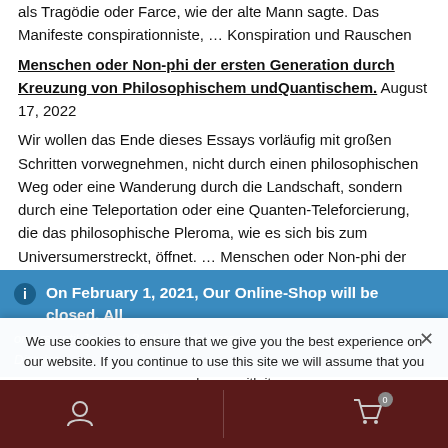als Tragödie oder Farce, wie der alte Mann sagte. Das Manifeste conspirationniste, … Konspiration und Rauschen Menschen oder Non-phi der ersten Generation durch Kreuzung von Philosophischem undQuantischem. August 17, 2022 Wir wollen das Ende dieses Essays vorläufig mit großen Schritten vorwegnehmen, nicht durch einen philosophischen Weg oder eine Wanderung durch die Landschaft, sondern durch eine Teleportation oder eine Quanten-Teleforcierung, die das philosophische Pleroma, wie es sich bis zum Universumerstreckt, öffnet. … Menschen oder Non-phi der ersten Generation durch Kreuzung von Philosophischem undQuantischem.
On February 1, 2021, Our Online-Shop will be closed. All orders until January 31 will be delivered. Dismiss
We use cookies to ensure that we give you the best experience on our website. If you continue to use this site we will assume that you are happy with it.